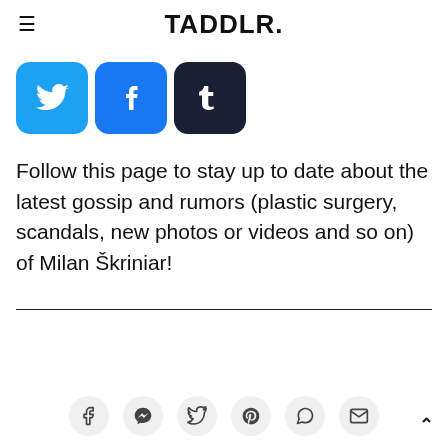TADDLR.
[Figure (logo): Social media share icons: Twitter (blue bird), Facebook (blue F), Tumblr (dark blue t)]
Follow this page to stay up to date about the latest gossip and rumors (plastic surgery, scandals, new photos or videos and so on) of Milan Škriniar!
Footer with social share icons: Facebook, Messenger, Twitter, Pinterest, WhatsApp, Email